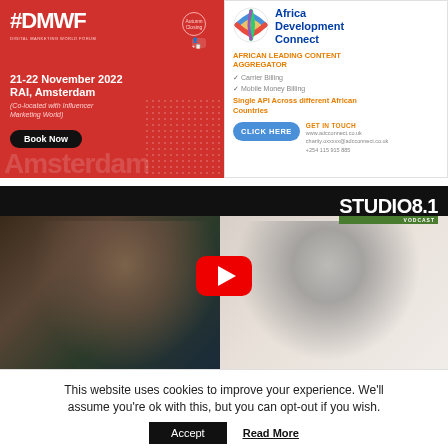[Figure (infographic): DMWF #DMWF Digital Marketing World Forum ad. Red background. 21-22 November 2022, RAI, Amsterdam. Co-located with Influencer Marketing World. Book Now button.]
[Figure (infographic): Africa Development Connect ad. African Leading Content Aggregator. Carrier Billing, Mobile Money Billing, Single API Across different African Countries. GET IN TOUCH, CLICK HERE button, www.adcconnect.co.uk, +254 115 915 885]
[Figure (screenshot): STUDIO 8.1 VODCAST video thumbnail with two people on a video call, YouTube play button overlay.]
This website uses cookies to improve your experience. We'll assume you're ok with this, but you can opt-out if you wish.
Accept
Read More